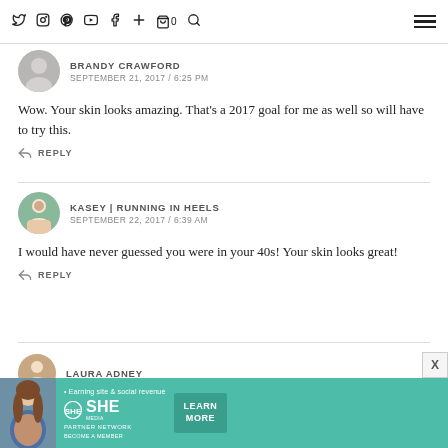Social media nav icons: Twitter, Instagram, Pinterest, YouTube, Facebook, Plus, Cart (0), Search, Menu
BRANDY CRAWFORD
SEPTEMBER 21, 2017 / 6:25 PM
Wow. Your skin looks amazing. That's a 2017 goal for me as well so will have to try this.
REPLY
KASEY | RUNNING IN HEELS
SEPTEMBER 22, 2017 / 6:39 AM
I would have never guessed you were in your 40s! Your skin looks great!
REPLY
LAURA ADNEY
[Figure (infographic): SHE Media Partner Network advertisement banner — teal background with woman photo, text 'Earning site & social revenue', SHE logo, PARTNER NETWORK, BECOME A MEMBER, and LEARN MORE button]